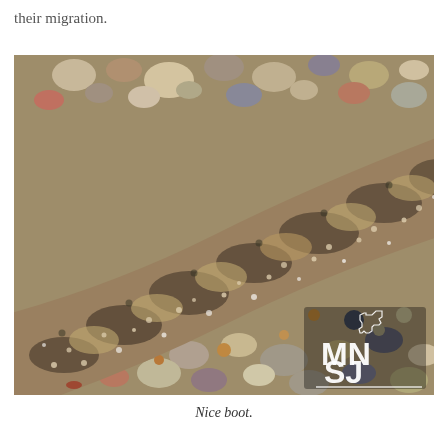their migration.
[Figure (photo): Close-up photograph of a snake's scaly body resting on gravel and small rocks. The scales show a mottled brown, tan, and dark gray pattern typical of a rattlesnake or similar species. In the lower-right corner is a watermark logo showing the outline of Minnesota state with 'MN SJ' in bold white text.]
Nice boot.